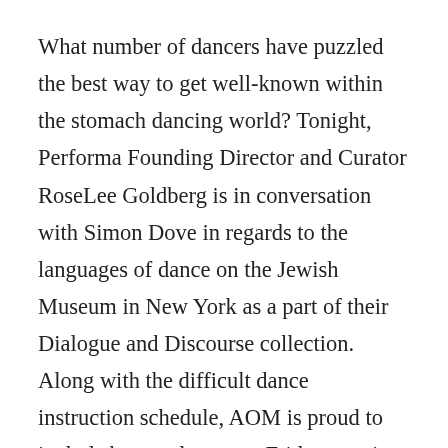What number of dancers have puzzled the best way to get well-known within the stomach dancing world? Tonight, Performa Founding Director and Curator RoseLee Goldberg is in conversation with Simon Dove in regards to the languages of dance on the Jewish Museum in New York as a part of their Dialogue and Discourse collection. Along with the difficult dance instruction schedule, AOM is proud to include bonus classes on Friday evening at no extra charge. After working with the a few of the world’s pre-eminent choreographers and dance establishments, MJ is gravitating in the direction of a more private performative artwork.